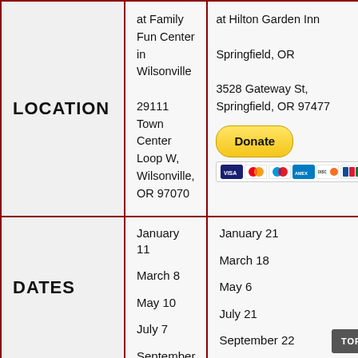|  | Wilsonville | Springfield |
| --- | --- | --- |
| LOCATION | at Family Fun Center in Wilsonville

29111 Town Center Loop W, Wilsonville, OR 97070 | at Hilton Garden Inn

Springfield, OR

3528 Gateway St, Springfield, OR 97477 |
| DATES | January 11

March 8

May 10

July 7

September 8 | January 21

March 18

May 6

July 21

September 22 |